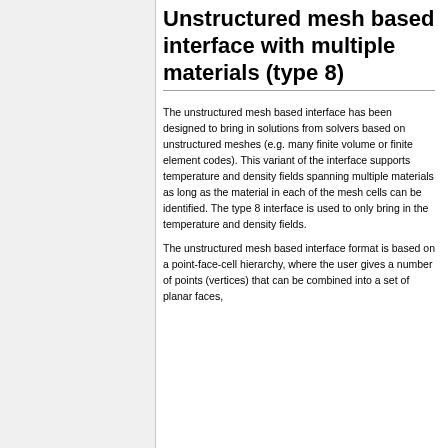Unstructured mesh based interface with multiple materials (type 8)
The unstructured mesh based interface has been designed to bring in solutions from solvers based on unstructured meshes (e.g. many finite volume or finite element codes). This variant of the interface supports temperature and density fields spanning multiple materials as long as the material in each of the mesh cells can be identified. The type 8 interface is used to only bring in the temperature and density fields.
The unstructured mesh based interface format is based on a point-face-cell hierarchy, where the user gives a number of points (vertices) that can be combined into a set of planar faces,